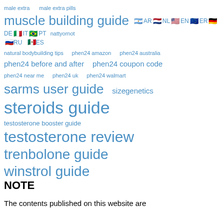male extra   male extra pills
muscle building guide   nattyornot
AR NL EN ER DE IT PT RU ES (with flag icons)
natural bodybuilding tips   phen24 amazon   phen24 australia
phen24 before and after   phen24 coupon code
phen24 near me   phen24 uk   phen24 walmart
sarms user guide   sizegenetics
steroids guide
testosterone booster guide
testosterone review
trenbolone guide
winstrol guide
NOTE
The contents published on this website are